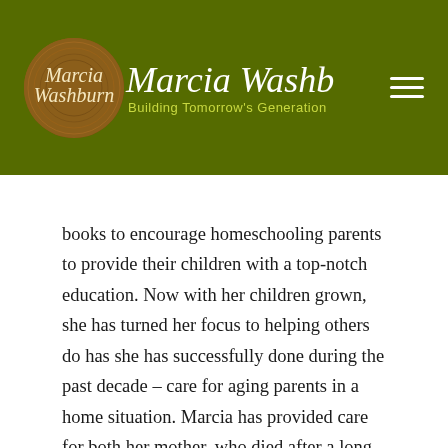[Figure (logo): Marcia Washburn logo with circular wood-grain emblem and text 'Building Tomorrow's Generation' on olive green header bar]
books to encourage homeschooling parents to provide their children with a top-notch education. Now with her children grown, she has turned her focus to helping others do has she has successfully done during the past decade – care for aging parents in a home situation. Marcia has provided care for both her mother, who died after a long illness, and now cares for her mother-in-law who suffers from dementia. Marcia's loving kindness is matched with her excellent organization and communication skills, making this book very